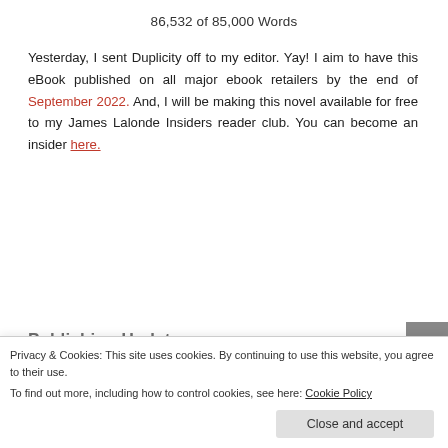86,532 of 85,000 Words
Yesterday, I sent Duplicity off to my editor. Yay! I aim to have this eBook published on all major ebook retailers by the end of September 2022. And, I will be making this novel available for free to my James Lalonde Insiders reader club. You can become an insider here.
Publishing Updates
Privacy & Cookies: This site uses cookies. By continuing to use this website, you agree to their use.
To find out more, including how to control cookies, see here: Cookie Policy
Close and accept